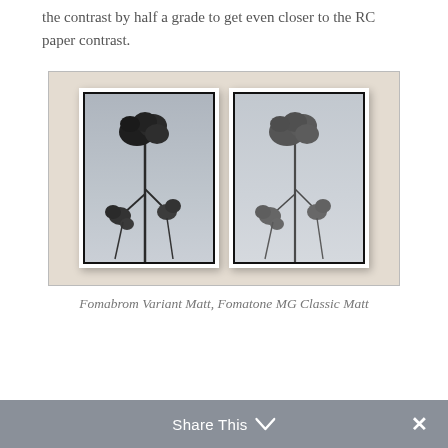the contrast by half a grade to get even closer to the RC paper contrast.
[Figure (photo): Two black-and-white photographic prints side by side on a cream/beige background, each showing a botanical flower stem. The left print appears darker/higher contrast, the right print appears slightly lighter/lower contrast. Both prints have white mounts and dark borders.]
Fomabrom Variant Matt, Fomatone MG Classic Matt
Share This ∨   ✕